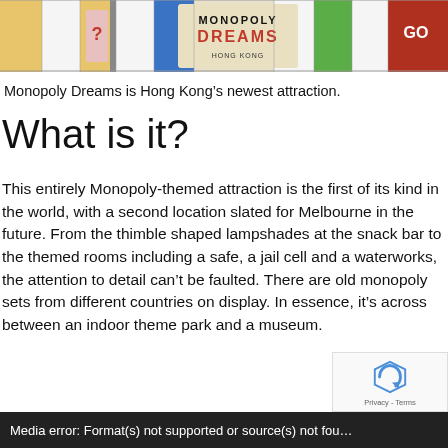[Figure (photo): Photo of Monopoly Dreams Hong Kong board game attraction, showing the Monopoly Dreams logo with colourful board squares visible]
Monopoly Dreams is Hong Kong’s newest attraction.
What is it?
This entirely Monopoly-themed attraction is the first of its kind in the world, with a second location slated for Melbourne in the future. From the thimble shaped lampshades at the snack bar to the themed rooms including a safe, a jail cell and a waterworks, the attention to detail can’t be faulted. There are old monopoly sets from different countries on display. In essence, it’s across between an indoor theme park and a museum.
Media error: Format(s) not supported or source(s) not fou…